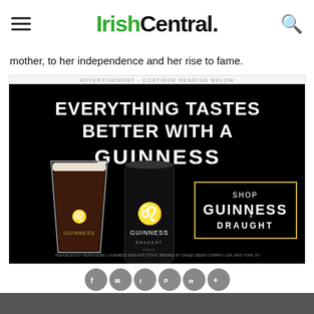IrishCentral.
mother, to her independence and her rise to fame.
[Figure (screenshot): Guinness advertisement: 'EVERYTHING TASTES BETTER WITH A GUINNESS' with product image of Guinness pint glass and can, and 'SHOP GUINNESS DRAUGHT' call-to-action box.]
ADVERTISEMENT - CONTINUE READING BELOW